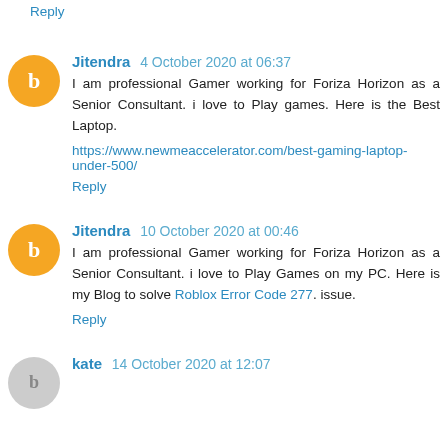Reply
Jitendra  4 October 2020 at 06:37
I am professional Gamer working for Foriza Horizon as a Senior Consultant. i love to Play games. Here is the Best Laptop.
https://www.newmeaccelerator.com/best-gaming-laptop-under-500/
Reply
Jitendra  10 October 2020 at 00:46
I am professional Gamer working for Foriza Horizon as a Senior Consultant. i love to Play Games on my PC. Here is my Blog to solve Roblox Error Code 277. issue.
Reply
kate  14 October 2020 at 12:07